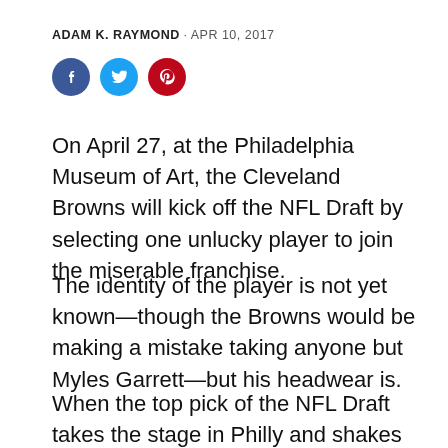ADAM K. RAYMOND · APR 10, 2017
[Figure (other): Social sharing icons: Facebook (blue circle), Twitter (light blue circle), Pinterest (red circle)]
On April 27, at the Philadelphia Museum of Art, the Cleveland Browns will kick off the NFL Draft by selecting one unlucky player to join the miserable franchise.
The identity of the player is not yet known—though the Browns would be making a mistake taking anyone but Myles Garrett—but his headwear is.
When the top pick of the NFL Draft takes the stage in Philly and shakes Roger Goodell's hand,